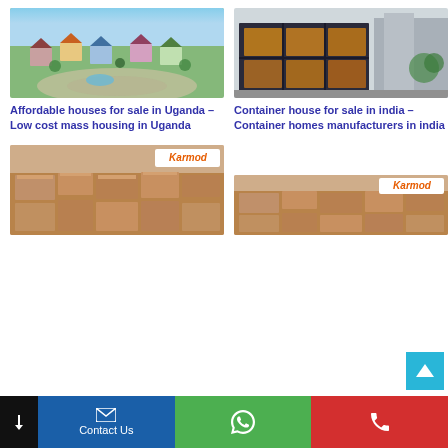[Figure (photo): Aerial view of affordable housing community in Uganda with colorful rooftops and green spaces]
Affordable houses for sale in Uganda – Low cost mass housing in Uganda
[Figure (photo): Container house building with dark metal frame and large glass windows]
Container house for sale in india – Container homes manufacturers in india
[Figure (photo): Aerial view of dense urban housing with Karmod logo/badge]
[Figure (photo): Aerial view of dense urban housing with Karmod logo/badge]
Contact Us